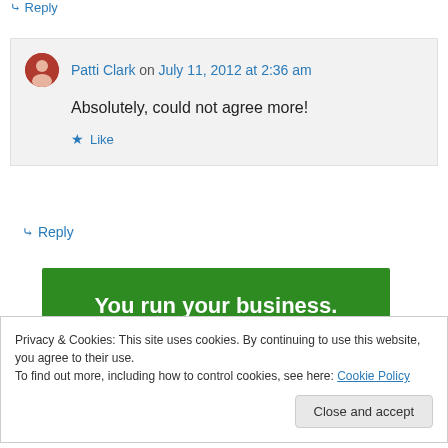↪ Reply
Patti Clark on July 11, 2012 at 2:36 am
Absolutely, could not agree more!
★ Like
↪ Reply
[Figure (illustration): Green banner with white bold text reading 'You run your business.']
Privacy & Cookies: This site uses cookies. By continuing to use this website, you agree to their use.
To find out more, including how to control cookies, see here: Cookie Policy
Close and accept